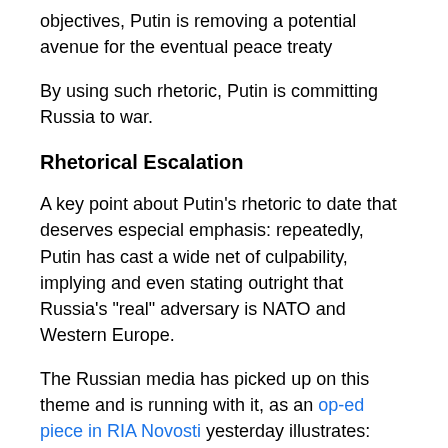objectives, Putin is removing a potential avenue for the eventual peace treaty
By using such rhetoric, Putin is committing Russia to war.
Rhetorical Escalation
A key point about Putin’s rhetoric to date that deserves especial emphasis: repeatedly, Putin has cast a wide net of culpability, implying and even stating outright that Russia’s “real” adversary is NATO and Western Europe.
The Russian media has picked up on this theme and is running with it, as an op-ed piece in RIA Novosti yesterday illustrates:
European irritation with Russia today has reached